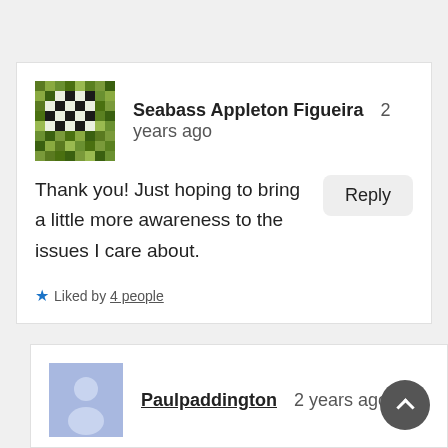[Figure (illustration): Green pixelated avatar icon resembling a building or grid pattern]
Seabass Appleton Figueira   2 years ago
Thank you! Just hoping to bring a little more awareness to the issues I care about.
Liked by 4 people
[Figure (illustration): Blue/grey avatar icon with question mark or person silhouette]
Paulpaddington   2 years ago